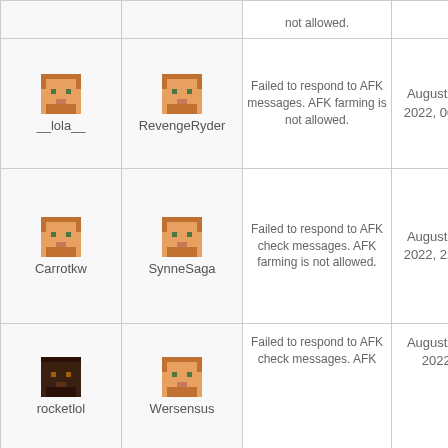| Player | Staff | Reason | Date |
| --- | --- | --- | --- |
| [partial] | [partial] | not allowed. |  |
| __lola__ | RevengeRyder | Failed to respond to AFK messages. AFK farming is not allowed. | August 20, 2022, 00:12 |
| Carrotkw | SynneSaga | Failed to respond to AFK check messages. AFK farming is not allowed. | August 19, 2022, 22:02 |
| rocketlol | Wersensus | Failed to respond to AFK check messages. AFK... | August 18, 2022, |